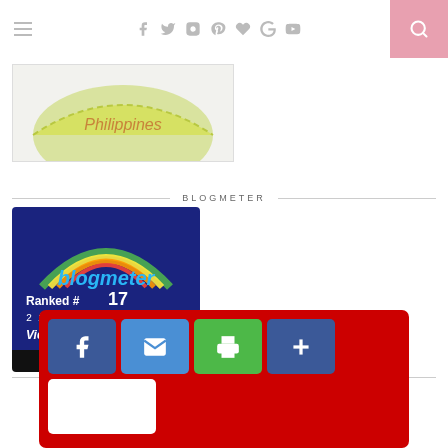Navigation bar with hamburger menu, social icons (Facebook, Twitter, Instagram, Pinterest, Heart, Google+, YouTube), and search button
[Figure (illustration): Partial image showing Philippines text with a lime/lemon wedge graphic on a light background]
BLOGMETER
[Figure (screenshot): Blogmeter badge on dark blue background showing rainbow arc logo, text 'blogmeter', 'Ranked # 17', '2 in Fashion & Beauty', 'Views Today: 323', and 'CHECK AND VISIT' button at bottom]
DISCLAIMER
If you... for ye... My favori... ily my
[Figure (infographic): Red social sharing overlay with Facebook (blue), email (blue), print (green), add (+) blue button, and blank white button]